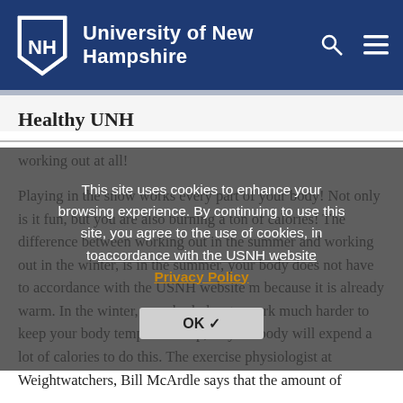University of New Hampshire
Healthy UNH
working out at all!
Playing in the snow works every part of your body! Not only is it fun, but you are also burning a ton of calories! The difference between working out in the summer and working out in the winter, is in the summer, your body does not have to work as hard to keep warm because it is already warm. In the winter, your body has to work much harder to keep your body temperature up, so your body will expend a lot of calories to do this. The exercise physiologist at Weightwatchers, Bill McArdle says that the amount of
This site uses cookies to enhance your browsing experience. By continuing to use this site, you agree to the use of cookies, in accordance with the USNH website Privacy Policy
OK ✓